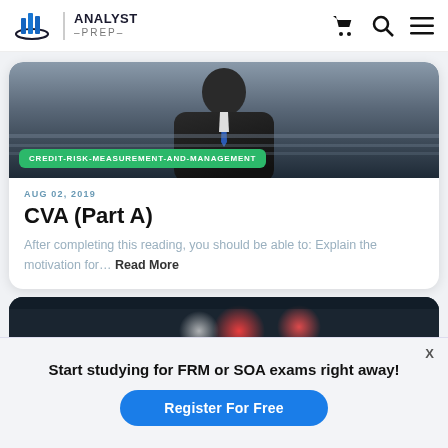[Figure (logo): AnalystPrep logo with bar chart icon and cart, search, menu navigation icons]
[Figure (photo): Person in suit with tie, dark background, with green tag badge reading CREDIT-RISK-MEASUREMENT-AND-MANAGEMENT]
AUG 02, 2019
CVA (Part A)
After completing this reading, you should be able to: Explain the motivation for… Read More
[Figure (photo): Dark bokeh night lights image, second article card stub]
Start studying for FRM or SOA exams right away!
Register For Free